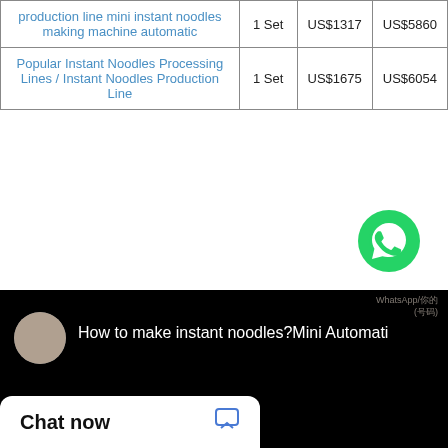| Product | Unit | Min Price | Max Price |
| --- | --- | --- | --- |
| production line mini instant noodles making machine automatic | 1 Set | US$1317 | US$5860 |
| Popular Instant Noodles Processing Lines / Instant Noodles Production Line | 1 Set | US$1675 | US$6054 |
[Figure (logo): WhatsApp green phone icon button]
[Figure (screenshot): Video thumbnail showing a person and title 'How to make instant noodles?Mini Automati...' on black background]
Chat now